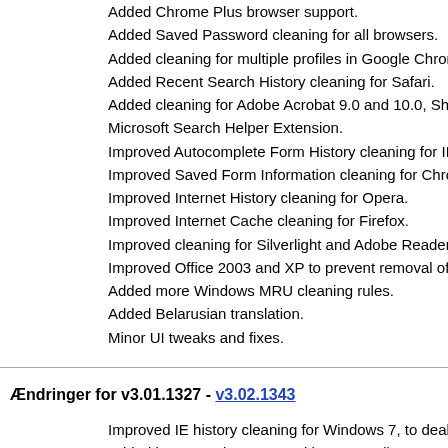Added Chrome Plus browser support.
Added Saved Password cleaning for all browsers.
Added cleaning for multiple profiles in Google Chrome.
Added Recent Search History cleaning for Safari.
Added cleaning for Adobe Acrobat 9.0 and 10.0, Shockwave 10 and 11, Microsoft Search Helper Extension.
Improved Autocomplete Form History cleaning for IE9.
Improved Saved Form Information cleaning for Chromium based browsers.
Improved Internet History cleaning for Opera.
Improved Internet Cache cleaning for Firefox.
Improved cleaning for Silverlight and Adobe Reader.
Improved Office 2003 and XP to prevent removal of autocorrect settings.
Added more Windows MRU cleaning rules.
Added Belarusian translation.
Minor UI tweaks and fixes.
Ændringer for v3.01.1327 - v3.02.1343
Improved IE history cleaning for Windows 7, to deal with some persistent files.
Added import and export Cookie to Keep list.
Added cleaning for CloneCD, Ashampoo Burning Studio 10 and Examdiff.
Added confirmation dialog when canceling wiping process in Drive Wiper.
Improved file size accuracy when analyzing and cleaning.
Improved cleaning for Windows Live Messenger, Antivir Desktop and K-Meleon.
Added file logging for all screens under Tools.
Added better support for mouse-wheel in all screens.
Improved icons in Rules tree for Vista and newer.